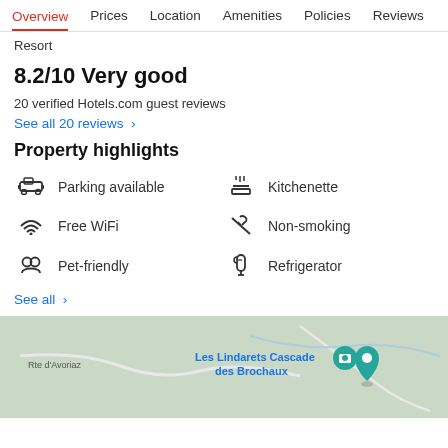Overview | Prices | Location | Amenities | Policies | Reviews
Resort
8.2/10 Very good
20 verified Hotels.com guest reviews
See all 20 reviews ›
Property highlights
Parking available
Kitchenette
Free WiFi
Non-smoking
Pet-friendly
Refrigerator
See all ›
[Figure (map): Map showing Les Lindarets Cascade des Brochaux location, with route Rte d'Avoriaz visible]